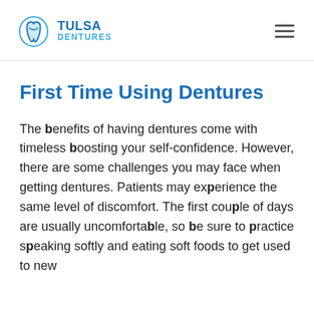Tulsa Dentures
First Time Using Dentures
The benefits of having dentures come with timeless boosting your self-confidence. However, there are some challenges you may face when getting dentures. Patients may experience the same level of discomfort. The first couple of days are usually uncomfortable, so be sure to practice speaking softly and eating soft foods to get used to new